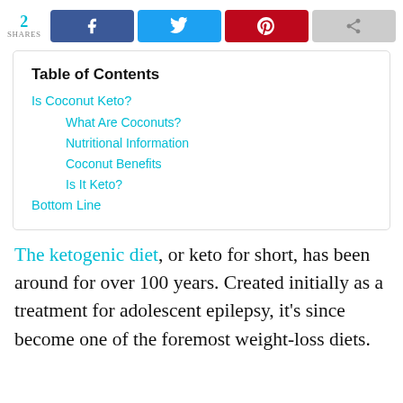2 SHARES [social share buttons: Facebook, Twitter, Pinterest, Other]
Table of Contents
Is Coconut Keto?
What Are Coconuts?
Nutritional Information
Coconut Benefits
Is It Keto?
Bottom Line
The ketogenic diet, or keto for short, has been around for over 100 years. Created initially as a treatment for adolescent epilepsy, it's since become one of the foremost weight-loss diets.